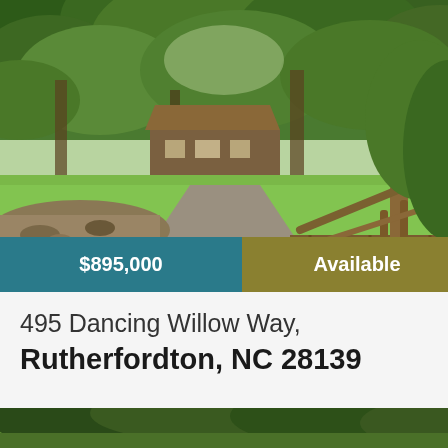[Figure (photo): Exterior photo of a wooded property with a gravel driveway leading to a house surrounded by lush green trees, with a creek and wooden bridge/railing in the foreground]
$895,000
Available
View Listing
495 Dancing Willow Way,
Rutherfordton, NC 28139
[Figure (photo): Partial bottom photo showing green tree canopy]